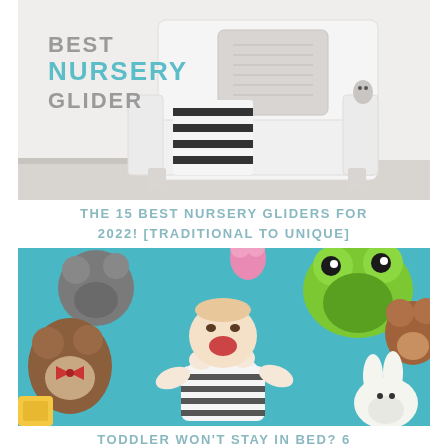[Figure (photo): White nursery glider chair with knit pillow and striped throw blanket. Text overlay reads 'BEST NURSERY GLIDER' with 'NURSERY' in teal/cyan color.]
THE 15 BEST NURSERY GLIDERS FOR 2022! [TRADITIONAL TO UNIQUE]
[Figure (photo): Baby/toddler lying on blue surface surrounded by stuffed animal toys including bears, a frog, and a bunny, laughing and wearing a striped outfit.]
TODDLER WON'T STAY IN BED? 6